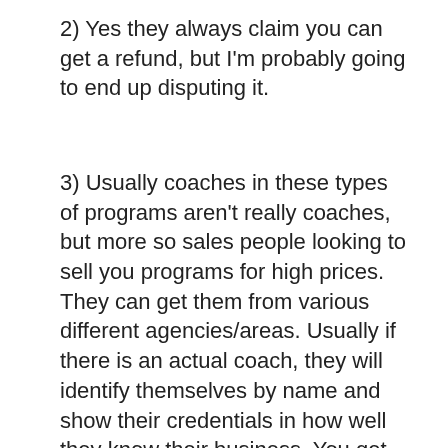2) Yes they always claim you can get a refund, but I'm probably going to end up disputing it.
3) Usually coaches in these types of programs aren't really coaches, but more so sales people looking to sell you programs for high prices. They can get them from various different agencies/areas. Usually if there is an actual coach, they will identify themselves by name and show their credentials in how well they know their business. You get none of that information in Auto Home Profits, just talks of a coach, but who it is, is unknown.